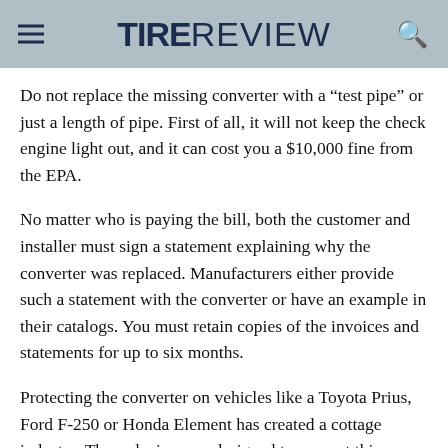TIRE REVIEW
Do not replace the missing converter with a “test pipe” or just a length of pipe. First of all, it will not keep the check engine light out, and it can cost you a $10,000 fine from the EPA.
No matter who is paying the bill, both the customer and installer must sign a statement explaining why the converter was replaced. Manufacturers either provide such a statement with the converter or have an example in their catalogs. You must retain copies of the invoices and statements for up to six months.
Protecting the converter on vehicles like a Toyota Prius, Ford F-250 or Honda Element has created a cottage industry. These devices are designed to prevent thieves from accessing the converter or make it difficult to cut the pipes. Some muffler shops that can still weld have...